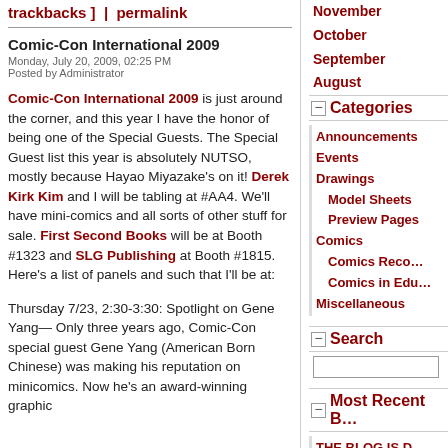trackbacks ]  |  permalink
Comic-Con International 2009
Monday, July 20, 2009, 02:25 PM
Posted by Administrator
Comic-Con International 2009 is just around the corner, and this year I have the honor of being one of the Special Guests. The Special Guest list this year is absolutely NUTSO, mostly because Hayao Miyazake's on it! Derek Kirk Kim and I will be tabling at #AA4. We'll have mini-comics and all sorts of other stuff for sale. First Second Books will be at Booth #1323 and SLG Publishing at Booth #1815. Here's a list of panels and such that I'll be at:
Thursday 7/23, 2:30-3:30: Spotlight on Gene Yang— Only three years ago, Comic-Con special guest Gene Yang (American Born Chinese) was making his reputation on minicomics. Now he's an award-winning graphic
November
October
September
August
Categories
Announcements
Events
Drawings
Model Sheets
Preview Pages
Comics
Comics Reco...
Comics in Edu...
Miscellaneous
Search
Most Recent B...
THE BLOG IS D...